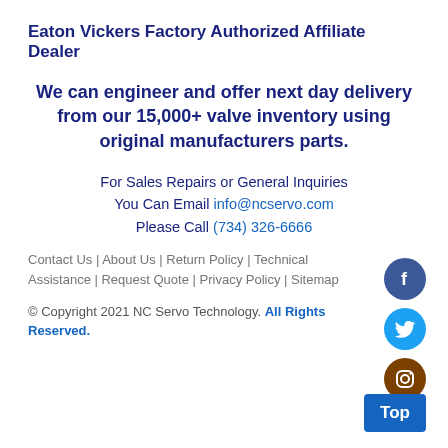Eaton Vickers Factory Authorized Affiliate Dealer
We can engineer and offer next day delivery from our 15,000+ valve inventory using original manufacturers parts.
For Sales Repairs or General Inquiries You Can Email info@ncservo.com Please Call (734) 326-6666
Contact Us | About Us | Return Policy | Technical Assistance | Request Quote | Privacy Policy | Sitemap
[Figure (infographic): Social media icons: Facebook (blue circle with F), Twitter (blue circle with bird), Instagram (brown circle with camera)]
© Copyright 2021 NC Servo Technology. All Rights Reserved.